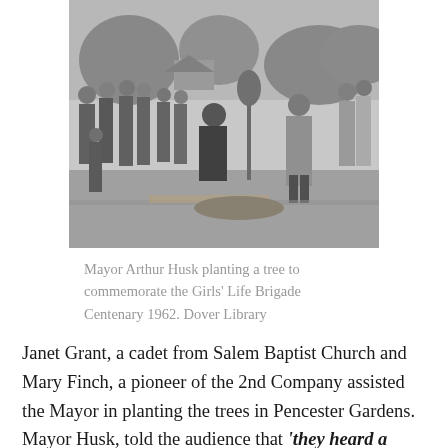[Figure (photo): Black and white photograph of Mayor Arthur Husk planting a tree, surrounded by a group of children in uniform and other adults, outdoors in a garden setting.]
Mayor Arthur Husk planting a tree to commemorate the Girls' Life Brigade Centenary 1962. Dover Library
Janet Grant, a cadet from Salem Baptist Church and Mary Finch, a pioneer of the 2nd Company assisted the Mayor in planting the trees in Pencester Gardens. Mayor Husk, told the audience that 'they heard a great deal about children getting into trouble, but if these children were to